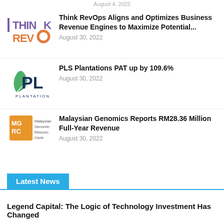August 4, 2022
[Figure (logo): Think RevOps logo with purple THIN and orange REVO text]
Think RevOps Aligns and Optimizes Business Revenue Engines to Maximize Potential...
August 30, 2022
[Figure (logo): PL Plantation logo with dark blue PL letters and green leaf]
PLS Plantations PAT up by 109.6%
August 30, 2022
[Figure (logo): MGRC Malaysian Genomics Resource Centre logo with orange square]
Malaysian Genomics Reports RM28.36 Million Full-Year Revenue
August 30, 2022
Latest News
Legend Capital: The Logic of Technology Investment Has Changed